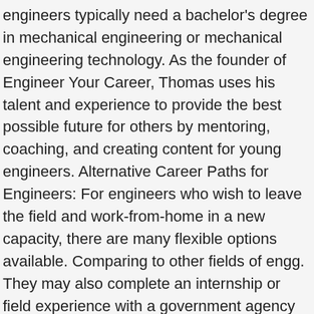engineers typically need a bachelor's degree in mechanical engineering or mechanical engineering technology. As the founder of Engineer Your Career, Thomas uses his talent and experience to provide the best possible future for others by mentoring, coaching, and creating content for young engineers. Alternative Career Paths for Engineers: For engineers who wish to leave the field and work-from-home in a new capacity, there are many flexible options available. Comparing to other fields of engg. They may also complete an internship or field experience with a government agency or aerospace and defense corporation. The journal's editorial board accepts manuscripts from myriad research areas, inviting innovative insights related to the field of mechanical engineering. The federal government hires mechanical engineers for projects like developing space probes for NASA, building stamping machines for government mints, responding to emergencies, and assisting with military and civilian infrastructure projects. For example, an engineer could